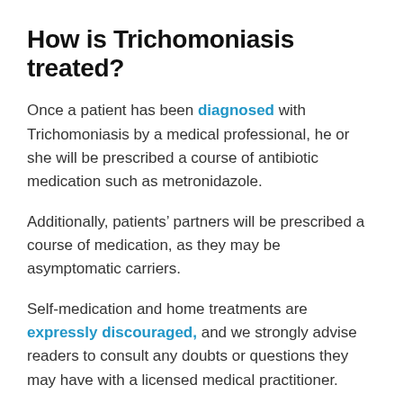How is Trichomoniasis treated?
Once a patient has been diagnosed with Trichomoniasis by a medical professional, he or she will be prescribed a course of antibiotic medication such as metronidazole.
Additionally, patients’ partners will be prescribed a course of medication, as they may be asymptomatic carriers.
Self-medication and home treatments are expressly discouraged, and we strongly advise readers to consult any doubts or questions they may have with a licensed medical practitioner.